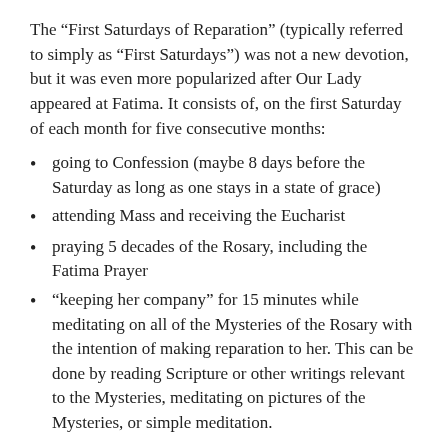The “First Saturdays of Reparation” (typically referred to simply as “First Saturdays”) was not a new devotion, but it was even more popularized after Our Lady appeared at Fatima. It consists of, on the first Saturday of each month for five consecutive months:
going to Confession (maybe 8 days before the Saturday as long as one stays in a state of grace)
attending Mass and receiving the Eucharist
praying 5 decades of the Rosary, including the Fatima Prayer
“keeping her company” for 15 minutes while meditating on all of the Mysteries of the Rosary with the intention of making reparation to her. This can be done by reading Scripture or other writings relevant to the Mysteries, meditating on pictures of the Mysteries, or simple meditation.
The promise given by Mary to those who make the First Saturday devotion is her assistance at the hour of their